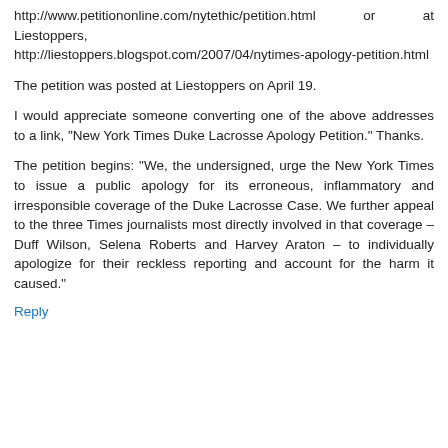http://www.petitiononline.com/nytethic/petition.html or at Liestoppers, http://liestoppers.blogspot.com/2007/04/nytimes-apology-petition.html
The petition was posted at Liestoppers on April 19.
I would appreciate someone converting one of the above addresses to a link, "New York Times Duke Lacrosse Apology Petition." Thanks.
The petition begins: "We, the undersigned, urge the New York Times to issue a public apology for its erroneous, inflammatory and irresponsible coverage of the Duke Lacrosse Case. We further appeal to the three Times journalists most directly involved in that coverage – Duff Wilson, Selena Roberts and Harvey Araton – to individually apologize for their reckless reporting and account for the harm it caused."
Reply